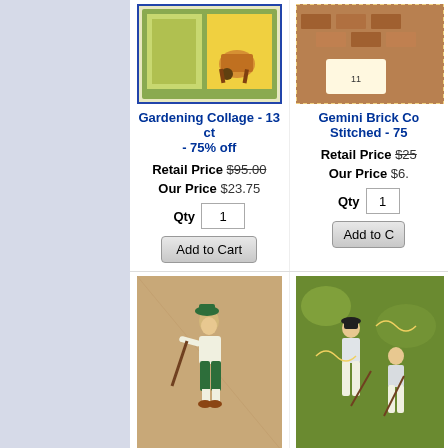[Figure (photo): Gardening Collage needlepoint canvas product image]
Gardening Collage - 13 ct - 75% off
Retail Price $95.00
Our Price $23.75
Qty 1
Add to Cart
[Figure (photo): Gemini Brick Co Pre-Stitched product image (partially visible)]
Gemini Brick Co Stitched - 75%
Retail Price $25
Our Price $6.
Qty 1
Add to Cart
[Figure (photo): Golfer Needlepoint Canvas product image - golfer figure in green knickers]
Golfer Needlepoint Canvas - 18 ct - 75% off
Retail Price $50.00
[Figure (photo): Golfer Pre-Stitched Marino product image (partially visible)]
Golfer- Pre-Sti Marino - 75
Retail Price $48